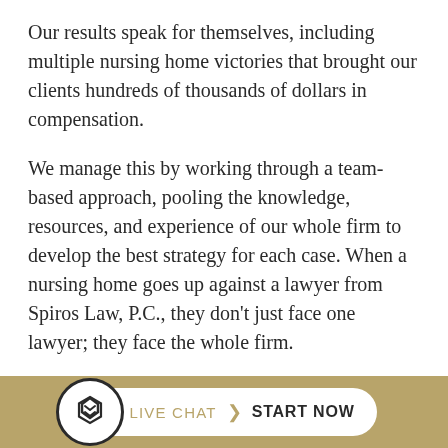Our results speak for themselves, including multiple nursing home victories that brought our clients hundreds of thousands of dollars in compensation.
We manage this by working through a team-based approach, pooling the knowledge, resources, and experience of our whole firm to develop the best strategy for each case. When a nursing home goes up against a lawyer from Spiros Law, P.C., they don't just face one lawyer; they face the whole firm.
Our team has seen every kind of harm an individual can experience in a nursing home, and we know how to turn that into a compelling and winnable case for our clients. That's why, regardless of the specifics of your nursing home [ab...] choice
[Figure (other): Live chat widget with Spiros Law logo in a circle on the left, and a pill-shaped button with 'LIVE CHAT' in gold and 'START NOW' in bold black, on a gold/tan background bar.]